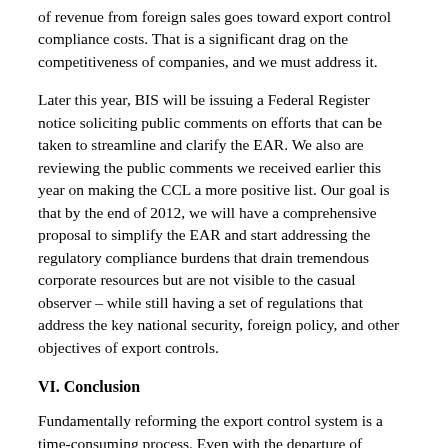of revenue from foreign sales goes toward export control compliance costs. That is a significant drag on the competitiveness of companies, and we must address it.
Later this year, BIS will be issuing a Federal Register notice soliciting public comments on efforts that can be taken to streamline and clarify the EAR. We also are reviewing the public comments we received earlier this year on making the CCL a more positive list. Our goal is that by the end of 2012, we will have a comprehensive proposal to simplify the EAR and start addressing the regulatory compliance burdens that drain tremendous corporate resources but are not visible to the casual observer – while still having a set of regulations that address the key national security, foreign policy, and other objectives of export controls.
VI. Conclusion
Fundamentally reforming the export control system is a time-consuming process. Even with the departure of Secretary Gates and impending departure of Secretary Locke, we have White House commitment to complete the job. We are committed to seeing the job through, too.
Our goal is to find that sweet spot between facilitating trade to trusted end users and ensuring that sensitive items do not find their ways into the hands of entities and nation states that seek to